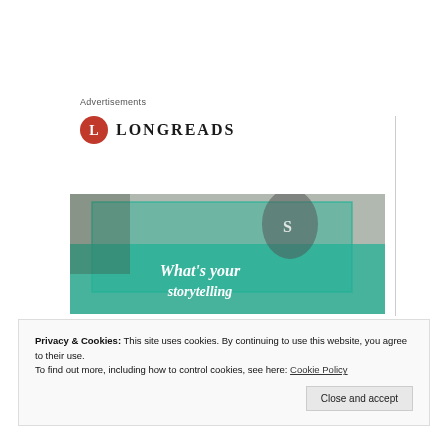Advertisements
[Figure (logo): Longreads logo with red circle containing white L and text LONGREADS]
[Figure (photo): Advertisement banner showing a person in a Superman shirt with teal overlay and italic text reading 'What's your storytelling']
Privacy & Cookies: This site uses cookies. By continuing to use this website, you agree to their use.
To find out more, including how to control cookies, see here: Cookie Policy
Close and accept